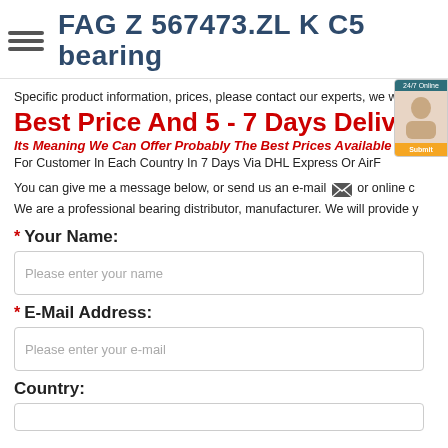FAG Z 567473.ZL K C5 bearing
Specific product information, prices, please contact our experts, we will r...
Best Price And 5 - 7 Days Deliver...
Its Meaning We Can Offer Probably The Best Prices Available In O...
For Customer In Each Country In 7 Days Via DHL Express Or AirF...
You can give me a message below, or send us an e-mail [icon] or online c...
We are a professional bearing distributor, manufacturer. We will provide y...
* Your Name:
Please enter your name
* E-Mail Address:
Please enter your e-mail
Country: